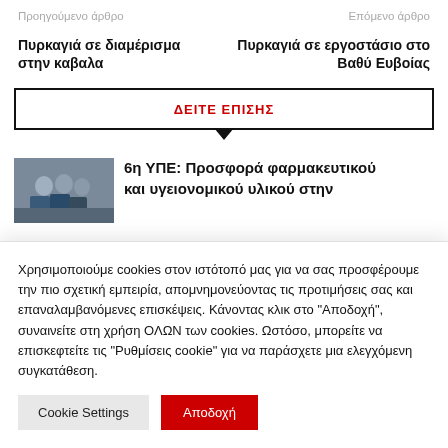Προηγούμενο άρθρο
Επόμενο άρθρο
Πυρκαγιά σε διαμέρισμα στην καβαλα
Πυρκαγιά σε εργοστάσιο στο Βαθύ Ευβοίας
ΔΕΙΤΕ ΕΠΙΣΗΣ
[Figure (photo): Photo of people in uniforms]
6η ΥΠΕ: Προσφορά φαρμακευτικού και υγειονομικού υλικού στην
Χρησιμοποιούμε cookies στον ιστότοπό μας για να σας προσφέρουμε την πιο σχετική εμπειρία, απομνημονεύοντας τις προτιμήσεις σας και επαναλαμβανόμενες επισκέψεις. Κάνοντας κλικ στο "Αποδοχή", συναινείτε στη χρήση ΟΛΩΝ των cookies. Ωστόσο, μπορείτε να επισκεφτείτε τις "Ρυθμίσεις cookie" για να παράσχετε μια ελεγχόμενη συγκατάθεση.
Cookie Settings
Αποδοχή